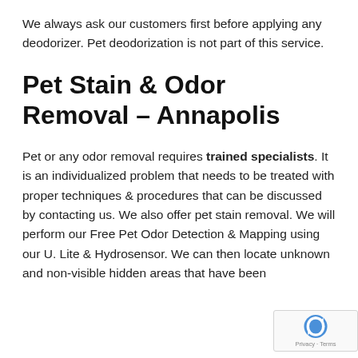We always ask our customers first before applying any deodorizer. Pet deodorization is not part of this service.
Pet Stain & Odor Removal – Annapolis
Pet or any odor removal requires trained specialists. It is an individualized problem that needs to be treated with proper techniques & procedures that can be discussed by contacting us. We also offer pet stain removal. We will perform our Free Pet Odor Detection & Mapping using our U. Lite & Hydrosensor. We can then locate unknown and non-visible hidden areas that have been